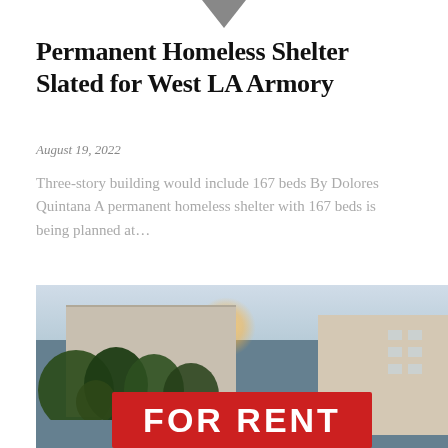[Figure (logo): Small downward-pointing filled triangle/chevron logo icon at top center]
Permanent Homeless Shelter Slated for West LA Armory
August 19, 2022
Three-story building would include 167 beds By Dolores Quintana A permanent homeless shelter with 167 beds is being planned at…
[Figure (photo): Photograph of apartment buildings at dusk with green trees in foreground and a red FOR RENT sign prominently displayed in the lower center of the image]